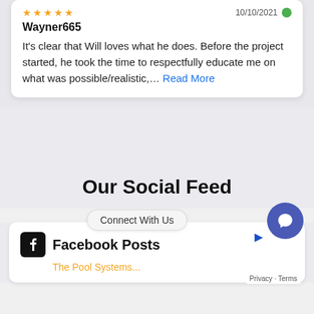Wayner665
It’s clear that Will loves what he does. Before the project started, he took the time to respectfully educate me on what was possible/realistic,.... Read More
Our Social Feed
Connect With Us
Facebook Posts
Privacy · Terms